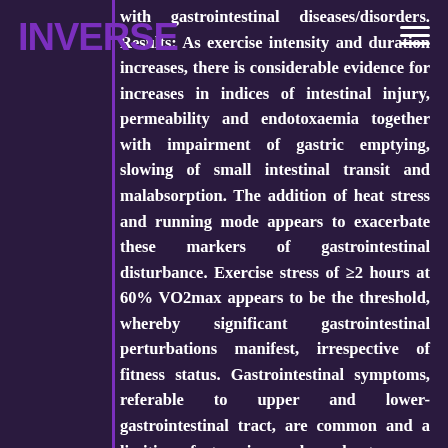INVERSE
with gastrointestinal diseases/disorders. Results: As exercise intensity and duration increases, there is considerable evidence for increases in indices of intestinal injury, permeability and endotoxaemia together with impairment of gastric emptying, slowing of small intestinal transit and malabsorption. The addition of heat stress and running mode appears to exacerbate these markers of gastrointestinal disturbance. Exercise stress of ≥2 hours at 60% VO2max appears to be the threshold, whereby significant gastrointestinal perturbations manifest, irrespective of fitness status. Gastrointestinal symptoms, referable to upper and lower-gastrointestinal tract, are common and a limiting factor in prolonged strenuous exercise. While there is evidence for health benefits of moderate exercise in patients with inflammatory bowel disease or functional gastrointestinal